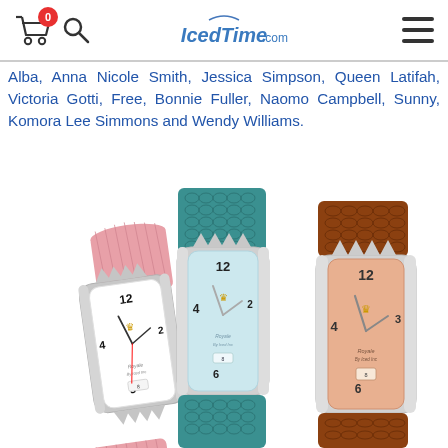IcedTime.com
Alba, Anna Nicole Smith, Jessica Simpson, Queen Latifah, Victoria Gotti, Free, Bonnie Fuller, Naomo Campbell, Sunny, Komora Lee Simmons and Wendy Williams.
[Figure (photo): Three luxury diamond-encrusted watches with different colored straps: pink leather, teal snakeskin, and brown/orange snakeskin. All three feature the Royale by Iced Inc brand with diamond bezels and distinctive crown-shaped lugs.]